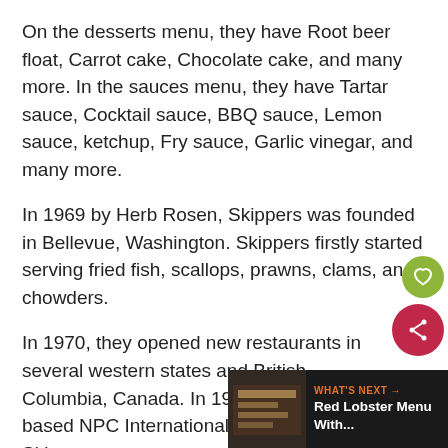On the desserts menu, they have Root beer float, Carrot cake, Chocolate cake, and many more. In the sauces menu, they have Tartar sauce, Cocktail sauce, BBQ sauce, Lemon sauce, ketchup, Fry sauce, Garlic vinegar, and many more.
In 1969 by Herb Rosen, Skippers was founded in Bellevue, Washington. Skippers firstly started serving fried fish, scallops, prawns, clams, and chowders.
In 1970, they opened new restaurants in several western states and British Columbia, Canada. In 1989, Kansa – based NPC International bought Skippers.
In 1995, Skippers was bought by Meridian Capital